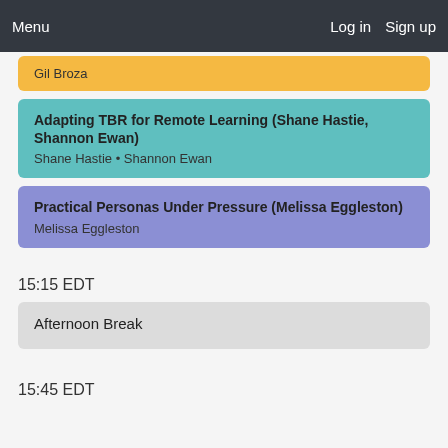Menu  Log in  Sign up
Gil Broza
Adapting TBR for Remote Learning (Shane Hastie, Shannon Ewan)
Shane Hastie • Shannon Ewan
Practical Personas Under Pressure (Melissa Eggleston)
Melissa Eggleston
15:15 EDT
Afternoon Break
15:45 EDT